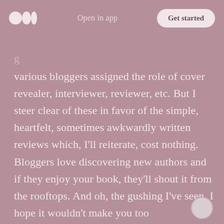Open in app | Get started
various bloggers assigned the role of cover revealer, interviewer, reviewer, etc. But I steer clear of these in favor of the simple, heartfelt, sometimes awkwardly written reviews which, I'll reiterate, cost nothing. Bloggers love discovering new authors and if they enjoy your book, they'll shout it from the rooftops. And oh, the gushing I've seen. I hope it wouldn't make you too uncomfortable if they fangirled you. Or fanboyed. Believe me, your publisher would be thrilled at such lavish praise. And we want to make our publishers happy, right?